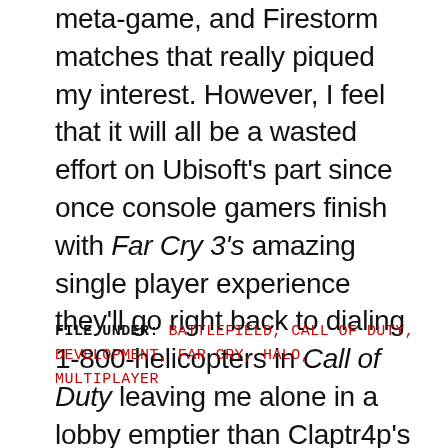meta-game, and Firestorm matches that really piqued my interest. However, I feel that it will all be a wasted effort on Ubisoft's part since once console gamers finish with Far Cry 3's amazing single player experience they'll go right back to dialing 1-800-helicopters in Call of Duty leaving me alone in a lobby emptier than Claptr4p's birthday party.
FILE UNDER: BATTLEFIELD, CALL OF DUTY, DEVELOPMENT, FAR CRY, HALO, MULTIPLAYER